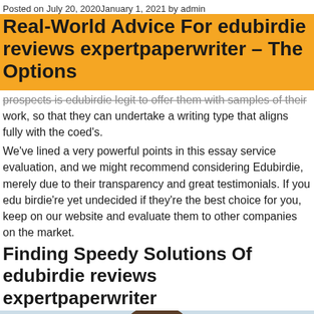Posted on July 20, 2020January 1, 2021 by admin
Real-World Advice For edubirdie reviews expertpaperwriter – The Options
prospects is edubirdie legit to offer them with samples of their work, so that they can undertake a writing type that aligns fully with the coed's.
We've lined a very powerful points in this essay service evaluation, and we might recommend considering Edubirdie, merely due to their transparency and great testimonials. If you edu birdie're yet undecided if they're the best choice for you, keep on our website and evaluate them to other companies on the market.
Finding Speedy Solutions Of edubirdie reviews expertpaperwriter
[Figure (photo): A group of students studying together, viewed from above, with two people's heads visible bending over work.]